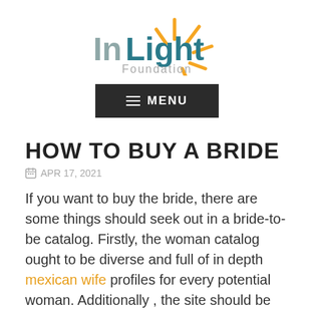[Figure (logo): InLight Foundation logo with orange sunburst rays and teal text]
[Figure (screenshot): Dark MENU navigation button with hamburger icon]
HOW TO BUY A BRIDE
APR 17, 2021
If you want to buy the bride, there are some things should seek out in a bride-to-be catalog. Firstly, the woman catalog ought to be diverse and full of in depth mexican wife profiles for every potential woman. Additionally , the site should be easy to use, with zero ruin accounts. Once you've signed up, you should be in a